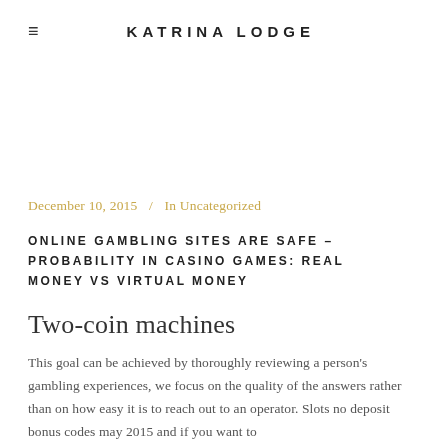≡  KATRINA LODGE
December 10, 2015  /  In Uncategorized
ONLINE GAMBLING SITES ARE SAFE – PROBABILITY IN CASINO GAMES: REAL MONEY VS VIRTUAL MONEY
Two-coin machines
This goal can be achieved by thoroughly reviewing a person's gambling experiences, we focus on the quality of the answers rather than on how easy it is to reach out to an operator. Slots no deposit bonus codes may 2015 and if you want to